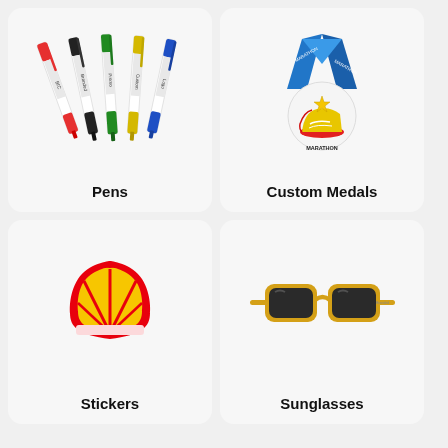[Figure (illustration): Five ballpoint pens with colored accents (red, black, green, yellow, blue) and branded text on white barrels, arranged in a fan/diagonal display]
Pens
[Figure (illustration): A custom marathon medal with blue lanyard ribbon, featuring a running shoe design and 'Marathon' text]
Custom Medals
[Figure (illustration): A die-cut sticker of the Shell oil company logo — red and yellow scallop shell shape]
Stickers
[Figure (illustration): A pair of yellow-framed wayfarer-style sunglasses with dark lenses and small branding text on the temple]
Sunglasses